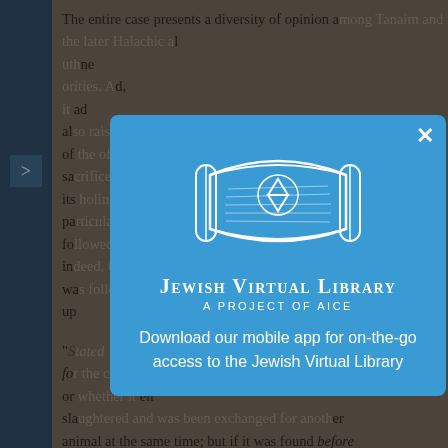The entire case presents a diversity of opinion among Tanaim and also among the medieval Halachic authorities...
[Figure (screenshot): Jewish Virtual Library modal popup on a blue background, featuring a Torah scroll illustration with a Star of David, the title 'Jewish Virtual Library', subtitle 'A Project of AICE', and text reading 'Download our mobile app for on-the-go access to the Jewish Virtual Library'. A close (X) button is visible in the top-right corner of the modal.]
"S... found ... fo... me or... en slaughtered and was been exchanged for another animal at the same time; but if it was found before and was exchanged after that, the substitute may